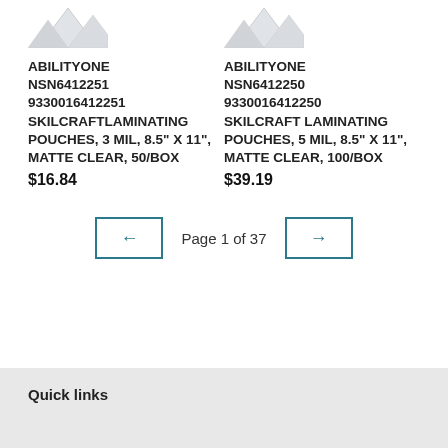[Figure (photo): Partial view of laminating pouches product image (cropped at top), left column]
[Figure (photo): Partial view of laminating pouches product image (cropped at top), right column]
ABILITYONE NSN6412251 9330016412251 SKILCRAFTLAMINATING POUCHES, 3 MIL, 8.5" X 11", MATTE CLEAR, 50/BOX $16.84
ABILITYONE NSN6412250 9330016412250 SKILCRAFT LAMINATING POUCHES, 5 MIL, 8.5" X 11", MATTE CLEAR, 100/BOX $39.19
Page 1 of 37
Quick links